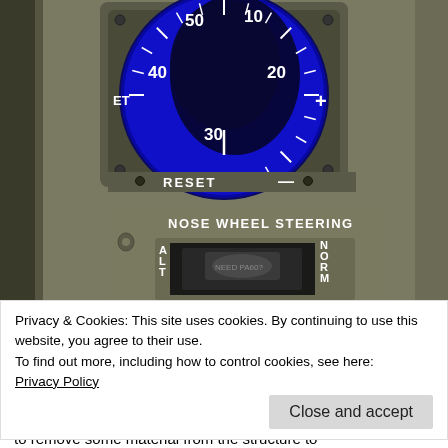[Figure (photo): Close-up photograph of an aircraft cockpit panel showing a timer/elapsed time instrument with a circular dial displaying numbers 10, 20, 30, 40, 50 with 'ET' label on the left, '+' on the right, and 'RESET' and '-' buttons below. Below the timer is a 'NOSE WHEEL STEERING' panel with a switch labeled 'ALT' on the left and 'NORM' on the right.]
Privacy & Cookies: This site uses cookies. By continuing to use this website, you agree to their use.
To find out more, including how to control cookies, see here:
Privacy Policy
to remove some material from the structure to